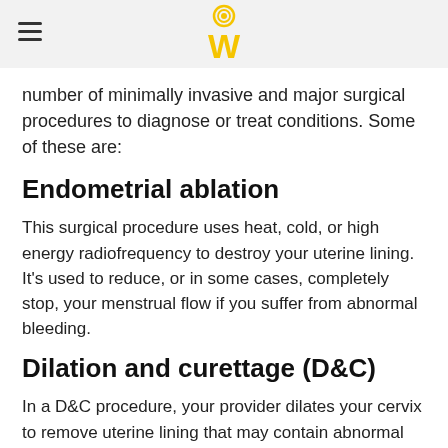[Logo: W icon]
number of minimally invasive and major surgical procedures to diagnose or treat conditions. Some of these are:
Endometrial ablation
This surgical procedure uses heat, cold, or high energy radiofrequency to destroy your uterine lining. It's used to reduce, or in some cases, completely stop, your menstrual flow if you suffer from abnormal bleeding.
Dilation and curettage (D&C)
In a D&C procedure, your provider dilates your cervix to remove uterine lining that may contain abnormal tissues with a spoon-shaped device called a curette.